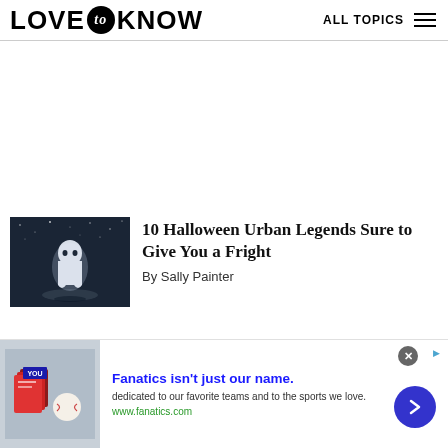LOVE to KNOW   ALL TOPICS
[Figure (illustration): Ghost figure glowing white against dark night sky with stars, article thumbnail for Halloween urban legends article]
10 Halloween Urban Legends Sure to Give You a Fright
By Sally Painter
[Figure (illustration): Bottom advertisement banner: Fanatics isn't just our name. dedicated to our favorite teams and to the sports we love. www.fanatics.com. Shows sports merchandise books. Blue arrow button on right. Close X button top right.]